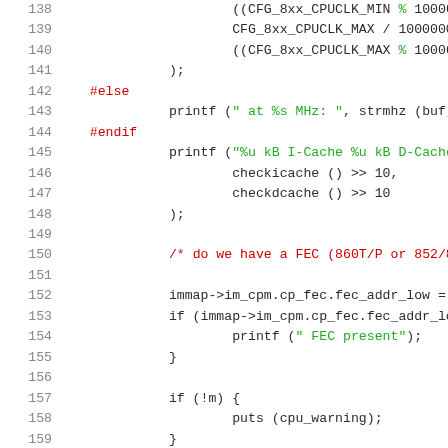[Figure (screenshot): Source code listing showing C code with syntax highlighting. Lines 138-159 visible. Line numbers in gray on left, preprocessor directives in red, strings in green, rest in dark/black. Code deals with CPU clock configuration, cache checking, FEC detection, and warning display.]